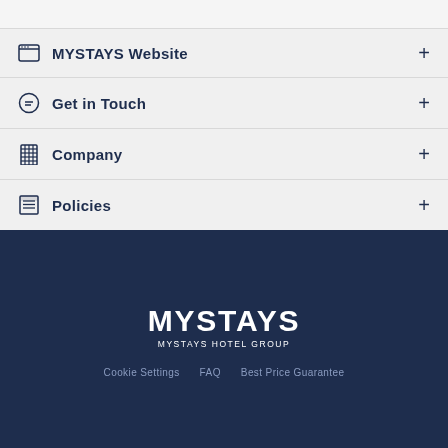MYSTAYS Website
Get in Touch
Company
Policies
[Figure (logo): MYSTAYS HOTEL GROUP logo in white on dark navy background]
Cookie Settings   FAQ   Best Price Guarantee